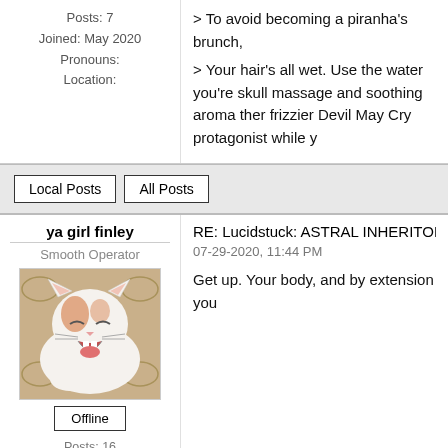Posts: 7
Joined: May 2020
Pronouns:
Location:
> To avoid becoming a piranha's brunch,
> Your hair's all wet. Use the water you're skull massage and soothing aroma ther frizzier Devil May Cry protagonist while y
Local Posts    All Posts
ya girl finley
Smooth Operator
RE: Lucidstuck: ASTRAL INHERITORS A
07-29-2020, 11:44 PM
[Figure (photo): A white and orange cat lying down with mouth open wide as if yawning, on a golden/beige patterned cushion or blanket]
Offline
Posts: 16
Get up. Your body, and by extension you